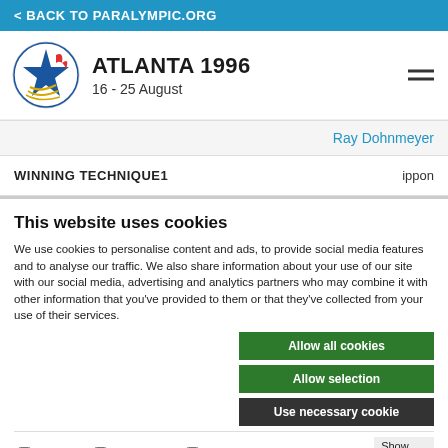< BACK TO PARALYMPIC.ORG
ATLANTA 1996
16 - 25 August
| WINNING TECHNIQUE1 | ippon |
| --- | --- |
| WINNING TECHNIQUE1 | ippon |
This website uses cookies
We use cookies to personalise content and ads, to provide social media features and to analyse our traffic. We also share information about your use of our site with our social media, advertising and analytics partners who may combine it with other information that you've provided to them or that they've collected from your use of their services.
Allow all cookies
Allow selection
Use necessary cookie
ecessary   Preferences   Statistics   Show details
Marketing
ATHLETE